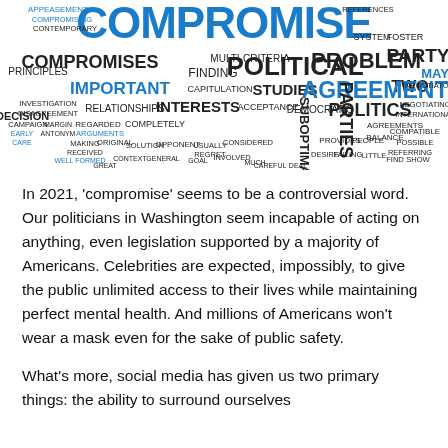[Figure (infographic): Word cloud centered on the word COMPROMISE in large blue letters, surrounded by related political and negotiation terms in varying sizes and colors (blue and dark gray/black). Prominent words include: POLITICAL, PROBLEM, PARTY, COMPROMISES, AGREEMENT, IMPORTANT, INTERESTS, STUDIES, PARTIES, SUBOPTIMAL, POLITICS, TWO, FINDING, MULTI-CRITERIA, DECISION, RELATIONSHIPS, ARGUMENTS, DEMOCRATIC, NEGOTIATING, INTERNATIONAL, AGREEMENTS, and many smaller words.]
In 2021, ‘compromise’ seems to be a controversial word. Our politicians in Washington seem incapable of acting on anything, even legislation supported by a majority of Americans. Celebrities are expected, impossibly, to give the public unlimited access to their lives while maintaining perfect mental health. And millions of Americans won’t wear a mask even for the sake of public safety.
What’s more, social media has given us two primary things: the ability to surround ourselves